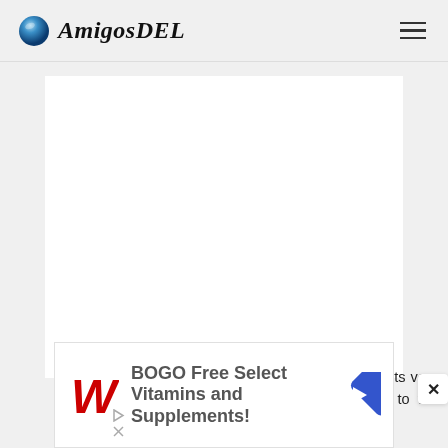AmigosDEL
[Figure (other): White content card area (image placeholder)]
The classic fertilizers tend to give up the elements very quickly and this could cause serious damage to the roots, in
[Figure (other): Walgreens advertisement banner: BOGO Free Select Vitamins and Supplements!]